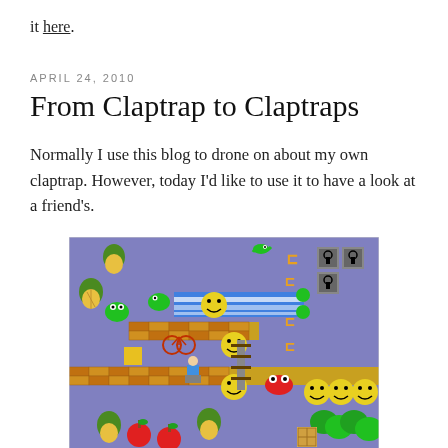it here.
APRIL 24, 2010
From Claptrap to Claptraps
Normally I use this blog to drone on about my own claptrap. However, today I'd like to use it to have a look at a friend's.
[Figure (screenshot): Screenshot of a retro-style puzzle/platformer video game featuring colorful pixel-art graphics with smiley faces, frogs, pineapples, brick walls, locks, a bicycle, a character, red apples, and other game elements on a purple/blue background.]